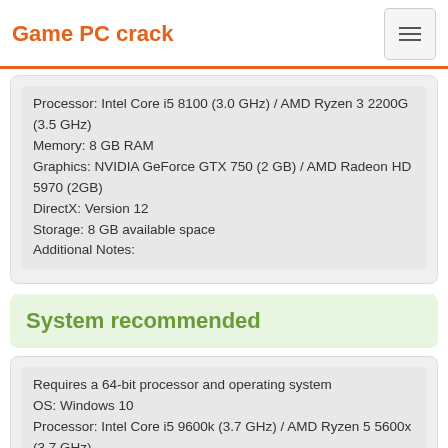Game PC crack
Processor: Intel Core i5 8100 (3.0 GHz) / AMD Ryzen 3 2200G (3.5 GHz)
Memory: 8 GB RAM
Graphics: NVIDIA GeForce GTX 750 (2 GB) / AMD Radeon HD 5970 (2GB)
DirectX: Version 12
Storage: 8 GB available space
Additional Notes:
System recommended
Requires a 64-bit processor and operating system
OS: Windows 10
Processor: Intel Core i5 9600k (3.7 GHz) / AMD Ryzen 5 5600x (3.7 GHz)
Memory: 8 GB RAM
Graphics: NVIDIA GeForce GTX 1050 Ti (4 GB) /